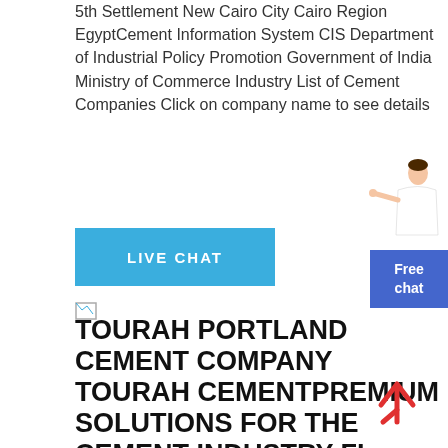5th Settlement New Cairo City Cairo Region EgyptCement Information System CIS Department of Industrial Policy Promotion Government of India Ministry of Commerce Industry List of Cement Companies Click on company name to see details
[Figure (other): Live Chat button (blue rectangle with LIVE CHAT text)]
[Figure (other): Small broken image icon]
TOURAH PORTLAND CEMENT COMPANY TOURAH CEMENTPREMIUM SOLUTIONS FOR THE CEMENT INDUSTRY FL
Tourah Cement s overall objective is to continue to invest and develop its activities in the country by respecting its Egyptian identity and increasing its efficiency through converting the Company from a